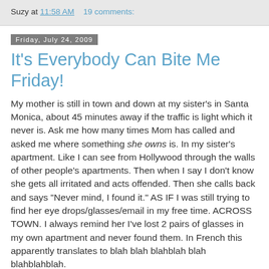Suzy at 11:58 AM    19 comments:
Friday, July 24, 2009
It's Everybody Can Bite Me Friday!
My mother is still in town and down at my sister's in Santa Monica, about 45 minutes away if the traffic is light which it never is. Ask me how many times Mom has called and asked me where something she owns is. In my sister's apartment. Like I can see from Hollywood through the walls of other people's apartments. Then when I say I don't know she gets all irritated and acts offended. Then she calls back and says "Never mind, I found it." AS IF I was still trying to find her eye drops/glasses/email in my free time. ACROSS TOWN. I always remind her I've lost 2 pairs of glasses in my own apartment and never found them. In French this apparently translates to blah blah blahblah blah blahblahblah.
I went to a free screening of Funny People thanks to BlogHer. I still walk down the darkened stairs of the Arclight movie theater as if I'm on a tightrope, reaching out and